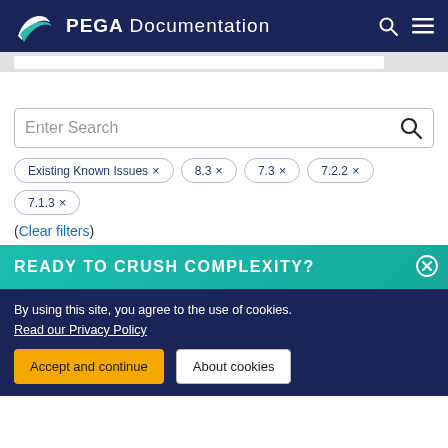PEGA Documentation
[Figure (screenshot): Gray bar with white search input visible below header]
[Figure (screenshot): Search box with placeholder text 'Enter Search' and search icon]
Existing Known Issues ×
8.3 ×
7.3 ×
7.2.2 ×
7.1.3 ×
(Clear filters)
READY TO CRUSH COMPLEXITY?
By using this site, you agree to the use of cookies.
Read our Privacy Policy
Accept and continue   About cookies